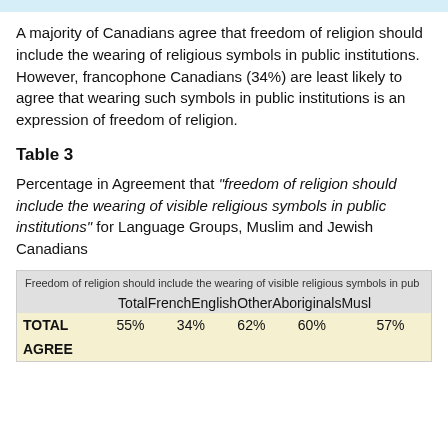A majority of Canadians agree that freedom of religion should include the wearing of religious symbols in public institutions. However, francophone Canadians (34%) are least likely to agree that wearing such symbols in public institutions is an expression of freedom of religion.
Table 3
Percentage in Agreement that "freedom of religion should include the wearing of visible religious symbols in public institutions" for Language Groups, Muslim and Jewish Canadians
|  | Total | French | English | Other | Aboriginal | Mus... |
| --- | --- | --- | --- | --- | --- | --- |
| TOTAL AGREE | 55% | 34% | 62% | 60% |  | 57% |